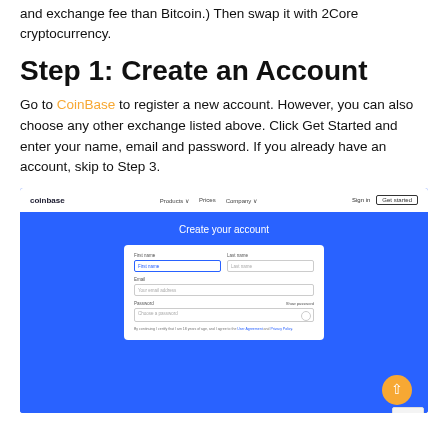and exchange fee than Bitcoin.) Then swap it with 2Core cryptocurrency.
Step 1: Create an Account
Go to CoinBase to register a new account. However, you can also choose any other exchange listed above. Click Get Started and enter your name, email and password. If you already have an account, skip to Step 3.
[Figure (screenshot): Screenshot of the Coinbase website showing the 'Create your account' registration form with fields for First name, Last name, Email, and Password on a blue background. Navigation bar at top shows 'coinbase' logo, Products, Prices, Company links, Sign in and Get started buttons. A yellow circle with up-arrow button is visible at bottom right. A reCAPTCHA widget appears in the corner.]